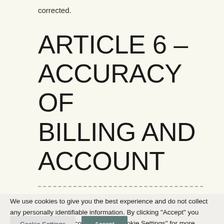corrected.
ARTICLE 6 – ACCURACY OF BILLING AND ACCOUNT
We use cookies to give you the best experience and do not collect any personally identifiable information. By clicking "Accept" you consent to the use of cookies. Visit "Cookie Settings" for more options.